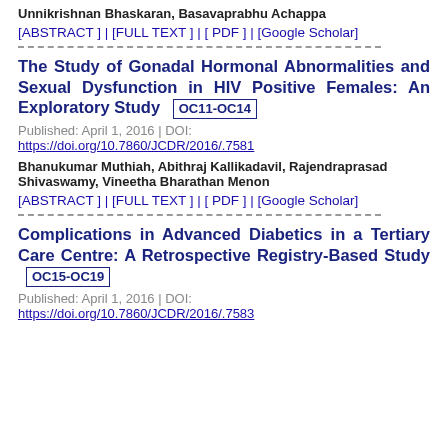Unnikrishnan Bhaskaran, Basavaprabhu Achappa
[ABSTRACT ] | [FULL TEXT ] | [ PDF ] | [Google Scholar]
- - - - - - - - - - - - - - - - - - - - - - - - - - - - - - - - - - - - - - - - - -
The Study of Gonadal Hormonal Abnormalities and Sexual Dysfunction in HIV Positive Females: An Exploratory Study  OC11-OC14
Published: April 1, 2016 | DOI: https://doi.org/10.7860/JCDR/2016/.7581
Bhanukumar Muthiah, Abithraj Kallikadavil, Rajendraprasad Shivaswamy, Vineetha Bharathan Menon
[ABSTRACT ] | [FULL TEXT ] | [ PDF ] | [Google Scholar]
- - - - - - - - - - - - - - - - - - - - - - - - - - - - - - - - - - - - - - - - - -
Complications in Advanced Diabetics in a Tertiary Care Centre: A Retrospective Registry-Based Study  OC15-OC19
Published: April 1, 2016 | DOI: https://doi.org/10.7860/JCDR/2016/.7583